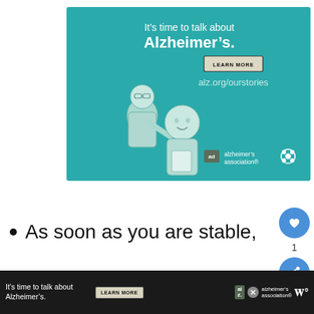[Figure (infographic): Alzheimer's Association advertisement banner with teal background. Text reads 'It's time to talk about Alzheimer's.' with a LEARN MORE button and alz.org/ourstories URL. Illustration of two elderly people talking. Alzheimer's Association logo in bottom right with 'ad' marker.]
As soon as you are stable,
you'll need to get up and start
[Figure (infographic): Bottom banner advertisement for Alzheimer's Association on dark background. Text 'It's time to talk about Alzheimer's.' with LEARN MORE button, close X button, and Alzheimer's Association logo.]